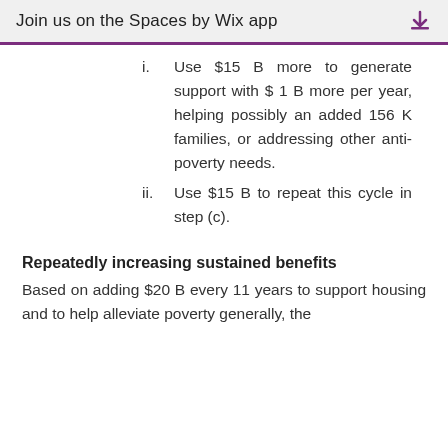Join us on the Spaces by Wix app ⬇
i.  Use $15 B more to generate support with $ 1 B more per year, helping possibly an added 156 K families, or addressing other anti-poverty needs.
ii.  Use $15 B to repeat this cycle in step (c).
Repeatedly increasing sustained benefits
Based on adding $20 B every 11 years to support housing and to help alleviate poverty generally, the